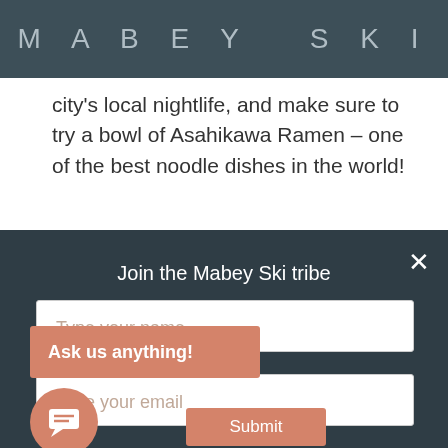MABEY SKI
city's local nightlife, and make sure to try a bowl of Asahikawa Ramen – one of the best noodle dishes in the world!
Join the Mabey Ski tribe
Type your name
Ask us anything!
Type your email
Submit